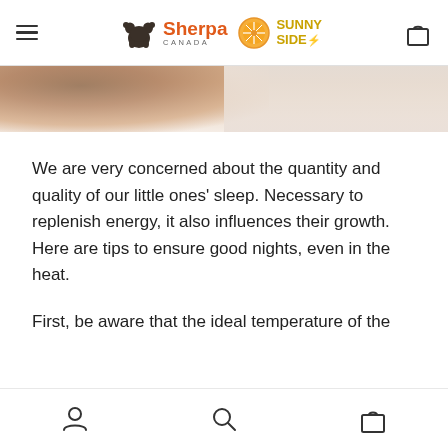Sherpa Canada | Sunny Side — navigation header with hamburger menu and bag icon
[Figure (photo): Close-up of a baby sleeping on soft white fabric]
We are very concerned about the quantity and quality of our little ones' sleep. Necessary to replenish energy, it also influences their growth. Here are tips to ensure good nights, even in the heat.
First, be aware that the ideal temperature of the
Bottom navigation bar with person/account icon, search icon, and bag icon